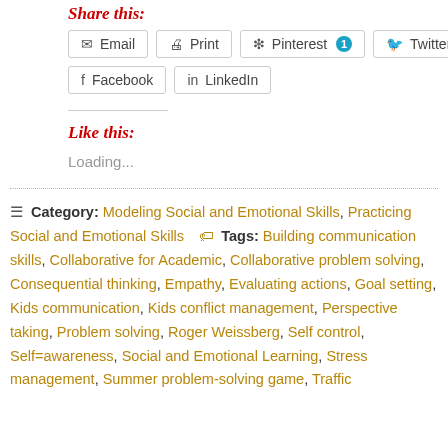Share this:
Email | Print | Pinterest 1 | Twitter | Facebook | LinkedIn
Like this:
Loading...
Category: Modeling Social and Emotional Skills, Practicing Social and Emotional Skills   Tags: Building communication skills, Collaborative for Academic, Collaborative problem solving, Consequential thinking, Empathy, Evaluating actions, Goal setting, Kids communication, Kids conflict management, Perspective taking, Problem solving, Roger Weissberg, Self control, Self=awareness, Social and Emotional Learning, Stress management, Summer problem-solving game, Traffic